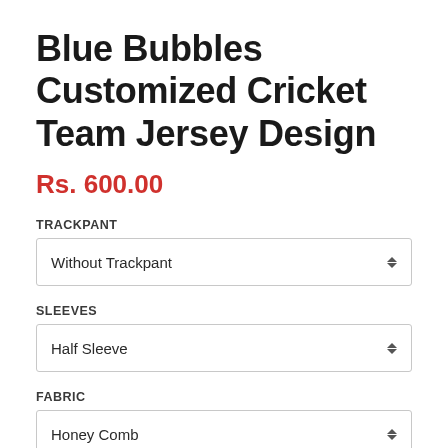Blue Bubbles Customized Cricket Team Jersey Design
Rs. 600.00
TRACKPANT
Without Trackpant
SLEEVES
Half Sleeve
FABRIC
Honey Comb